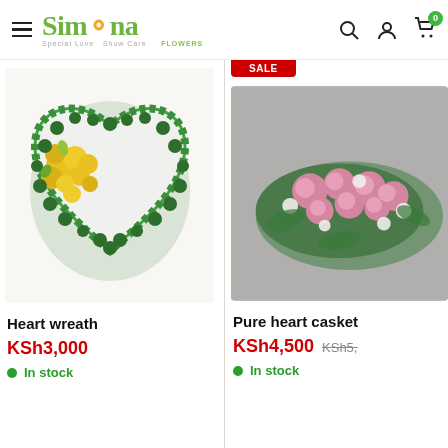Simona Flowers — navigation header with hamburger menu, search, account, and cart icons
[Figure (photo): Heart-shaped floral wreath with yellow roses and white flowers, edged with green leaves]
Heart wreath
KSh3,000
In stock
[Figure (photo): Pure heart casket arrangement with pink and white flowers on grey background, partially visible, with SALE badge]
Pure heart casket
KSh4,500  KSh5,...
In stock